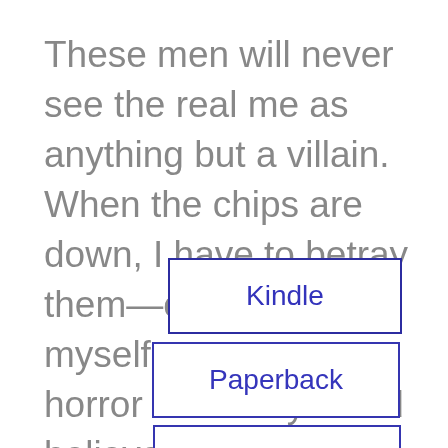These men will never see the real me as anything but a villain. When the chips are down, I have to betray them—or I'll lose myself to a greater horror than they could believe exists.
Kindle
Paperback
Audiobook